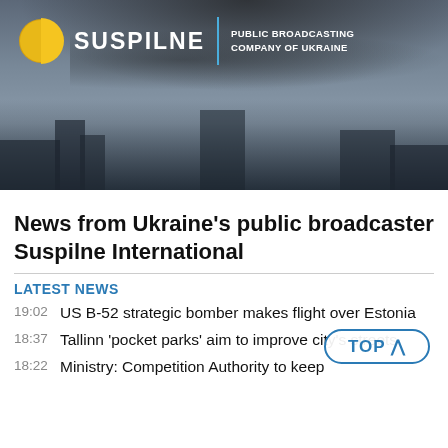[Figure (photo): Suspilne logo with golden half-circle icon, white text 'SUSPILNE', blue vertical divider, and tagline 'PUBLIC BROADCASTING COMPANY OF UKRAINE' overlaid on a dark smoky cityscape photo]
News from Ukraine's public broadcaster Suspilne International
LATEST NEWS
19:02   US B-52 strategic bomber makes flight over Estonia
18:37   Tallinn 'pocket parks' aim to improve city's streets
18:22   Ministry: Competition Authority to keep